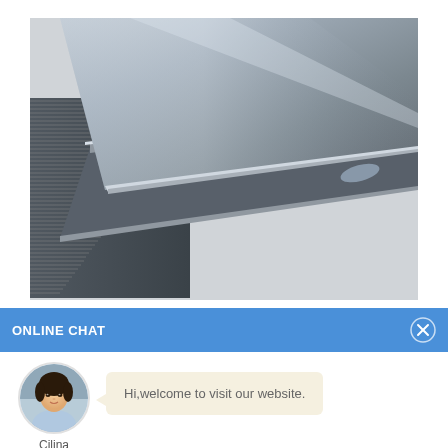[Figure (photo): Stack of metal steel plates/sheets photographed at an angle, showing multiple layers of flat rolled steel with visible edges on the left side. The steel surfaces appear dark grey and reflective.]
ONLINE CHAT
[Figure (photo): Circular avatar photo of a young woman named Cilina in a light blue shirt, used as a chat support agent icon.]
Cilina
Hi,welcome to visit our website.